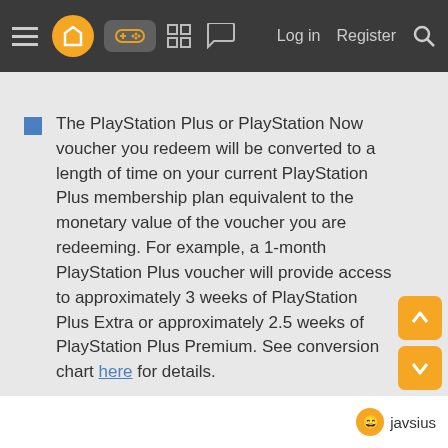Navigation bar with menu, logo, controller icon, grid icon, chat icon, Log in, Register, Search
if you are an existing customer.
The PlayStation Plus or PlayStation Now voucher you redeem will be converted to a length of time on your current PlayStation Plus membership plan equivalent to the monetary value of the voucher you are redeeming. For example, a 1-month PlayStation Plus voucher will provide access to approximately 3 weeks of PlayStation Plus Extra or approximately 2.5 weeks of PlayStation Plus Premium. See conversion chart here for details.